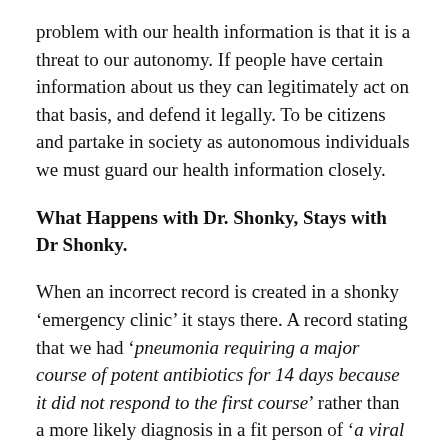problem with our health information is that it is a threat to our autonomy. If people have certain information about us they can legitimately act on that basis, and defend it legally. To be citizens and partake in society as autonomous individuals we must guard our health information closely.
What Happens with Dr. Shonky, Stays with Dr Shonky.
When an incorrect record is created in a shonky ‘emergency clinic’ it stays there. A record stating that we had ‘pneumonia requiring a major course of potent antibiotics for 14 days because it did not respond to the first course’ rather than a more likely diagnosis in a fit person of ‘a viral lower respiratory infection’ can have a major influence in future. But at least no one else knows.  The more mobile you are, the more you see